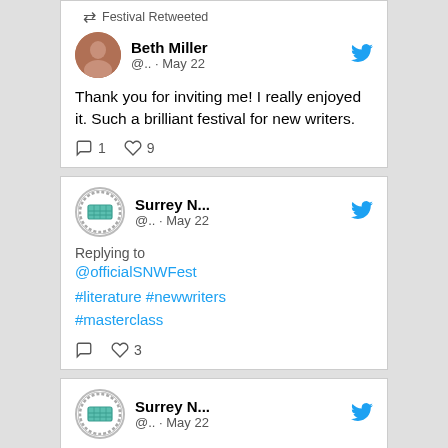Festival Retweeted
Beth Miller @.. · May 22
Thank you for inviting me! I really enjoyed it. Such a brilliant festival for new writers.
1 comment, 9 likes
Surrey N... @.. · May 22
Replying to @officialSNWFest
#literature #newwriters #masterclass
0 comments, 3 likes
Surrey N... @.. · May 22